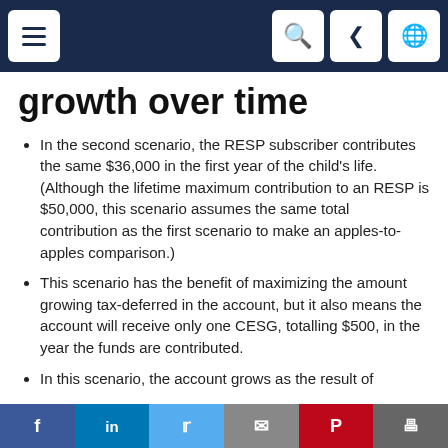navigation bar with menu, search, share, and globe icons
growth over time
In the second scenario, the RESP subscriber contributes the same $36,000 in the first year of the child's life. (Although the lifetime maximum contribution to an RESP is $50,000, this scenario assumes the same total contribution as the first scenario to make an apples-to-apples comparison.)
This scenario has the benefit of maximizing the amount growing tax-deferred in the account, but it also means the account will receive only one CESG, totalling $500, in the year the funds are contributed.
In this scenario, the account grows as the result of investment growth, the initial contribution, and the…
f  in  Twitter  mail  P  print